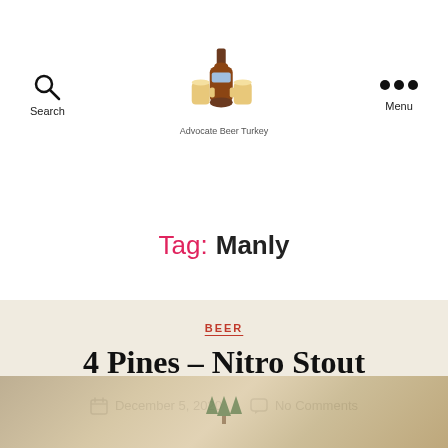Search | [Logo: Advocate Beer Turkey] | Menu
Tag: Manly
BEER
4 Pines – Nitro Stout
December 5, 2020   No Comments
[Figure (photo): Blurred background photo of food/beer scene with trees icon in center]